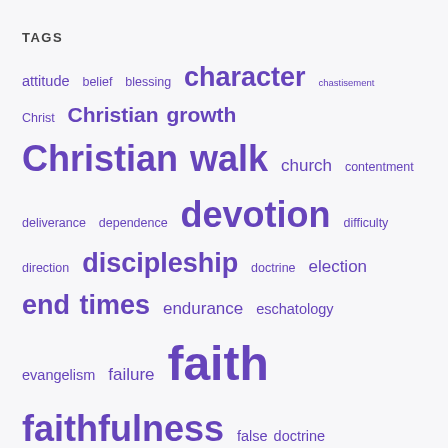TAGS
attitude belief blessing character chastisement Christ Christian growth Christian walk church contentment deliverance dependence devotion difficulty direction discipleship doctrine election end times endurance eschatology evangelism failure faith faithfulness false doctrine false teachers family fear fellowship godliness grace growth guidance hardship heart Holy Spirit honor hope humility inspiration integrity joy knowing God Lord's return maturity ministry Noah's ark obedience peace persecution personal devotion praise prayer priorities relationship religion